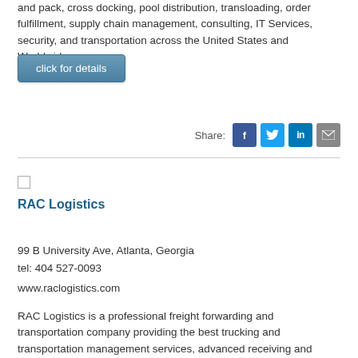and pack, cross docking, pool distribution, transloading, order fulfillment, supply chain management, consulting, IT Services, security, and transportation across the United States and Worldwide.
click for details
Share:
RAC Logistics
99 B University Ave, Atlanta, Georgia
tel: 404 527-0093
www.raclogistics.com
RAC Logistics is a professional freight forwarding and transportation company providing the best trucking and transportation management services, advanced receiving and shipping options, and secure